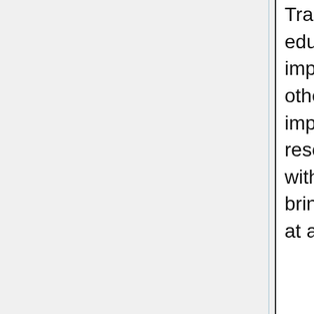Train research and education institutions to implement EGI gadgets and other applications to implement a support resource for users (users with an emphasis on bringing new users to DCI at a campus level.
could point their students to which wo easily answ all question about gettin started eve down to - h do I get started with such-and-s an app.

Such a session wo provide EG with some critical feedback o existing gadgets